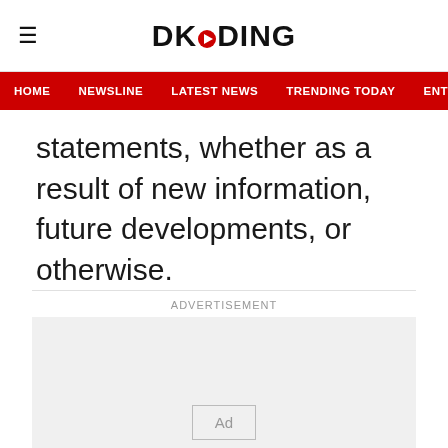DKODING
HOME   NEWSLINE   LATEST NEWS   TRENDING TODAY   ENT
statements, whether as a result of new information, future developments, or otherwise.
ADVERTISEMENT
[Figure (other): Advertisement placeholder box with 'Ad' label]